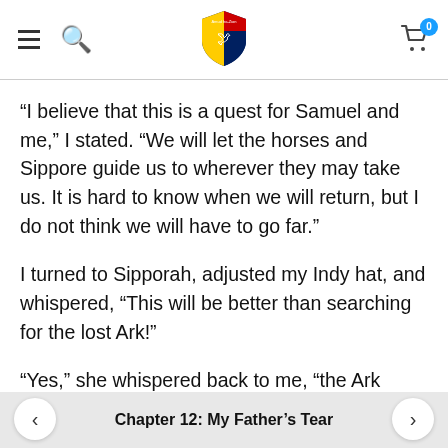Navigation bar with hamburger menu, search icon, shield logo, and cart icon with badge 0
“I believe that this is a quest for Samuel and me,” I stated. “We will let the horses and Sippore guide us to wherever they may take us. It is hard to know when we will return, but I do not think we will have to go far.”
I turned to Sipporah, adjusted my Indy hat, and whispered, “This will be better than searching for the lost Ark!”
“Yes,” she whispered back to me, “the Ark without the …y is only an empty throne.”
Chapter 12: My Father’s Tear